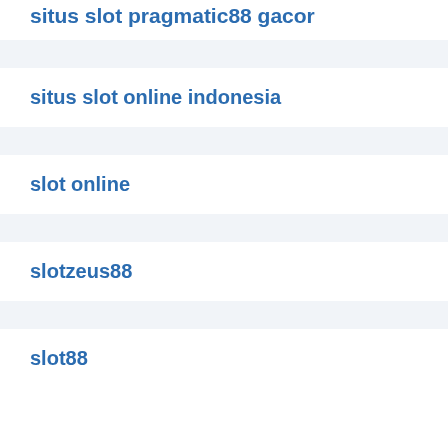situs slot pragmatic88 gacor
situs slot online indonesia
slot online
slotzeus88
slot88